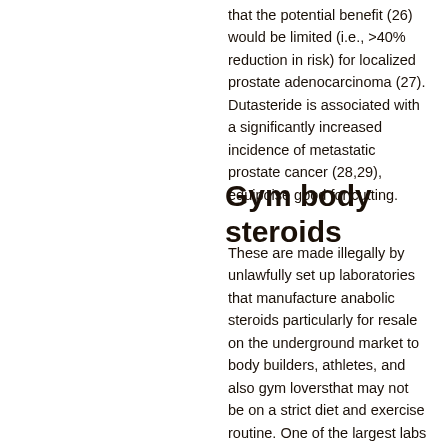that the potential benefit (26) would be limited (i.e., >40% reduction in risk) for localized prostate adenocarcinoma (27). Dutasteride is associated with a significantly increased incidence of metastatic prostate cancer (28,29), equipoise good for cutting.
Gym body steroids
These are made illegally by unlawfully set up laboratories that manufacture anabolic steroids particularly for resale on the underground market to body builders, athletes, and also gym loversthat may not be on a strict diet and exercise routine. One of the largest labs is called SITB. While the production of anabolic steroids are a serious illegal activity, the production of the most popular and popular steroids can be considered a more of an academic, steroids body gym. For that reason, the more popular